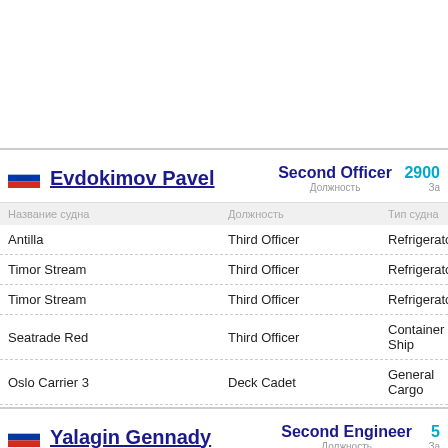| Название судна | Должность | Тип судна |
| --- | --- | --- |
| Antilla | Third Officer | Refrigerator |
| Timor Stream | Third Officer | Refrigerator |
| Timor Stream | Third Officer | Refrigerator |
| Seatrade Red | Third Officer | Container Ship |
| Oslo Carrier 3 | Deck Cadet | General Cargo |
| Название судна | Должность | Тип судна |
| --- | --- | --- |
| Proliv Longa | Second Engineer | Refrigerator |
| Peter Rikord | Second Engineer | Refrigerator |
| Peter Rikord | Second Engineer | Refrigerator |